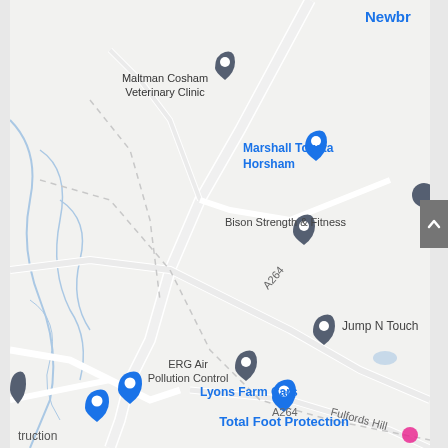[Figure (map): Google Maps screenshot showing roads near Horsham, UK. Features labels: Newbridge (top right), Maltman Cosham Veterinary Clinic, Marshall Toyota Horsham, Bison Strength & Fitness, ERG Air Pollution Control, Jump N Touch, Total Foot Protection (blue, highlighted), Lyons Farm Cars, A264 road label (x2), Fulfords Hill road label. Shows road network with A264 main road running diagonally, minor roads, and blue boundary/waterway lines on the left side.]